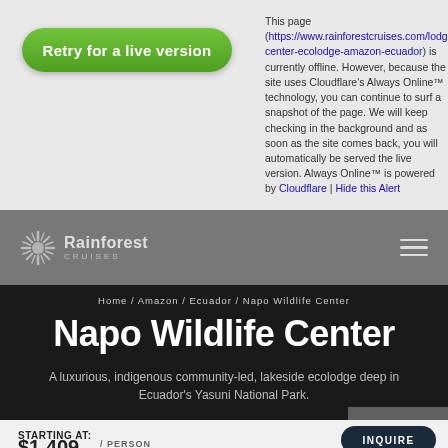This page (https://www.rainforestcruises.com/lodges/wildlife-center-ecolodge-amazon-ecuador) is currently offline. However, because the site uses Cloudflare's Always Online™ technology, you can continue to surf a snapshot of the page. We will keep checking in the background and as soon as the site comes back, you will automatically be served the live version. Always Online™ is powered by Cloudflare | Hide this Alert
[Figure (screenshot): Rainforest Cruises website navigation bar with logo and hamburger menu on gray background]
Napo Wildlife Center
Home / Amazon / Ecuador / Napo Wildlife Center
A luxurious, indigenous community-led, lakeside ecolodge deep in Ecuador's Yasuni National Park.
STARTING AT:
$1,409 / PERSON
INQUIRE